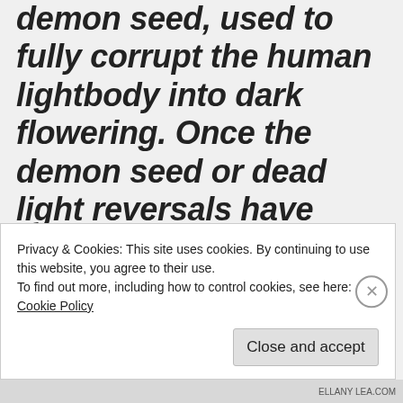demon seed, used to fully corrupt the human lightbody into dark flowering. Once the demon seed or dead light reversals have activated the shadow form to take over the lightbody, it can collapse the inner vertical channel, invert the heart complex into a black heart, so that individual is soul captured and
Privacy & Cookies: This site uses cookies. By continuing to use this website, you agree to their use.
To find out more, including how to control cookies, see here: Cookie Policy
Close and accept
ELLANY LEA.COM